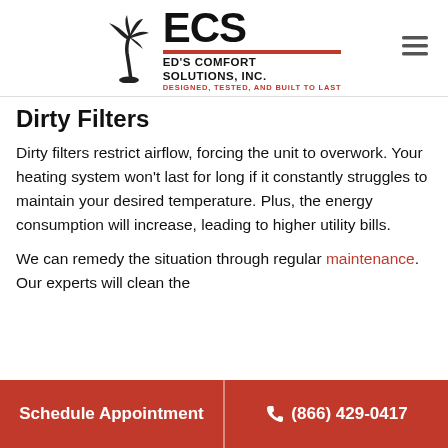ECS Ed's Comfort Solutions, Inc. — Designed, Tested, and Built to Last
Dirty Filters
Dirty filters restrict airflow, forcing the unit to overwork. Your heating system won't last for long if it constantly struggles to maintain your desired temperature. Plus, the energy consumption will increase, leading to higher utility bills.
We can remedy the situation through regular maintenance. Our experts will clean the
Schedule Appointment | ☎ (866) 429-0417